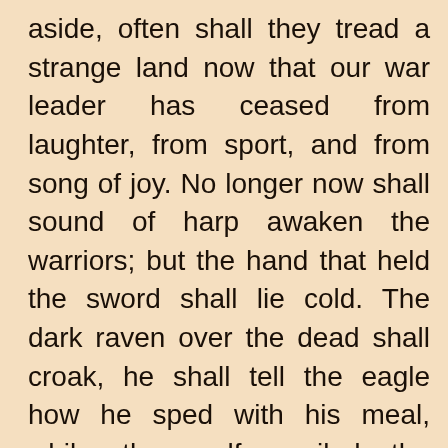aside, often shall they tread a strange land now that our war leader has ceased from laughter, from sport, and from song of joy. No longer now shall sound of harp awaken the warriors; but the hand that held the sword shall lie cold. The dark raven over the dead shall croak, he shall tell the eagle how he sped with his meal, while the wolf spoiled the carcasses of the slain."